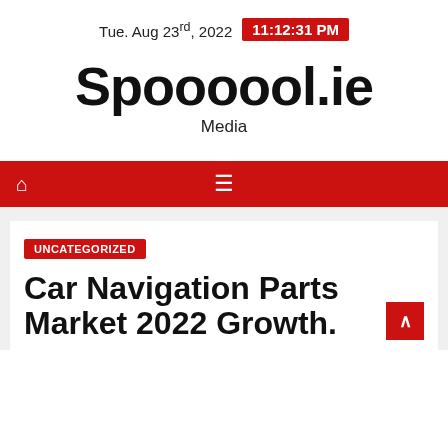Tue. Aug 23rd, 2022  11:12:31 PM
Spoooool.ie
Media
[Figure (other): Red navigation bar with home icon and hamburger menu icon]
UNCATEGORIZED
Car Navigation Parts Market 2022 Growth.